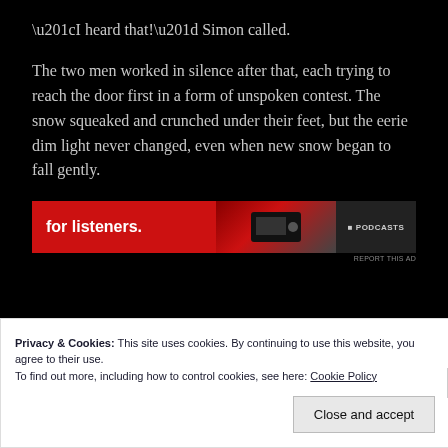“I heard that!” Simon called.
The two men worked in silence after that, each trying to reach the door first in a form of unspoken contest. The snow squeaked and crunched under their feet, but the eerie dim light never changed, even when new snow began to fall gently.
[Figure (other): Advertisement banner with red background, text 'for listeners.' and a device image on the right]
REPORT THIS AD
Privacy & Cookies: This site uses cookies. By continuing to use this website, you agree to their use.
To find out more, including how to control cookies, see here: Cookie Policy
Close and accept